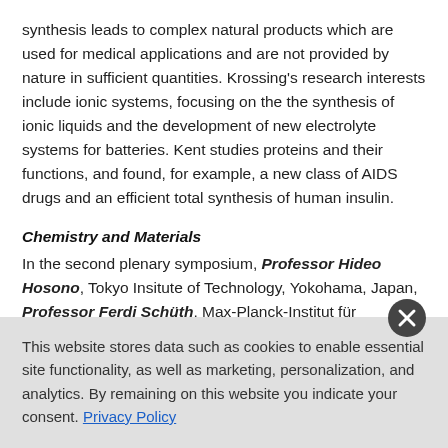synthesis leads to complex natural products which are used for medical applications and are not provided by nature in sufficient quantities. Krossing's research interests include ionic systems, focusing on the the synthesis of ionic liquids and the development of new electrolyte systems for batteries. Kent studies proteins and their functions, and found, for example, a new class of AIDS drugs and an efficient total synthesis of human insulin.
Chemistry and Materials
In the second plenary symposium, Professor Hideo Hosono, Tokyo Insitute of Technology, Yokohama, Japan, Professor Ferdi Schüth, Max-Planck-Institut für Kohlenforschung, Mühlheim, Germany, and Professor Susumu Kitagawa, Kyoto University, Japan provided the audience with insights into materials-related chemistry. Hosono's
This website stores data such as cookies to enable essential site functionality, as well as marketing, personalization, and analytics. By remaining on this website you indicate your consent. Privacy Policy